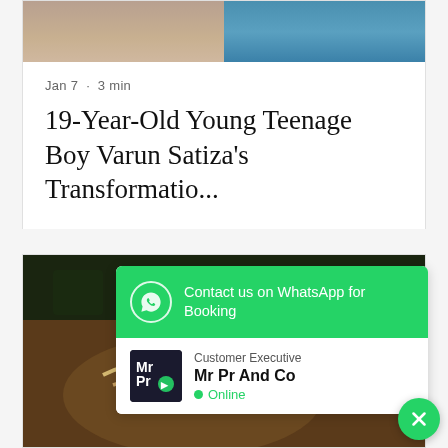[Figure (photo): Two photos side by side — left shows a person in a tan/brown shirt, right shows a person in a teal/blue top]
Jan 7  ·  3 min
19-Year-Old Young Teenage Boy Varun Satiza's Transformatio...
[Figure (photo): Photo of food dish — Asian style noodle/vegetable dish on a plate at a restaurant table]
[Figure (screenshot): WhatsApp contact widget overlay: green header 'Contact us on WhatsApp for Booking', below shows Customer Executive 'Mr Pr And Co' with Online status indicator]
[Figure (other): Green circular close/X button in bottom right corner]